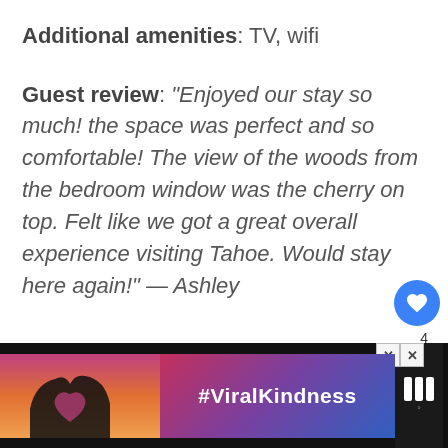Additional amenities: TV, wifi
Guest review: "Enjoyed our stay so much! the space was perfect and so comfortable! The view of the woods from the bedroom window was the cherry on top. Felt like we got a great overall experience visiting Tahoe. Would stay here again!" — Ashley
[Figure (screenshot): UI overlay with heart/like button (blue circle with heart icon), count '4', share button, and 'WHAT'S NEXT' card showing 'The Best Airbnb Stay...']
[Figure (photo): Advertisement banner at bottom: dark background with colorful gradient image of hands forming heart shape, #ViralKindness text, and logo icon on right]